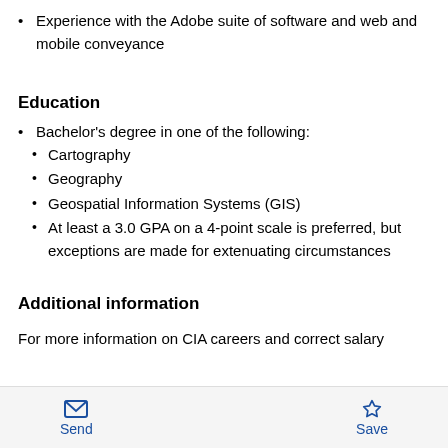Experience with the Adobe suite of software and web and mobile conveyance
Education
Bachelor's degree in one of the following:
Cartography
Geography
Geospatial Information Systems (GIS)
At least a 3.0 GPA on a 4-point scale is preferred, but exceptions are made for extenuating circumstances
Additional information
For more information on CIA careers and correct salary
Send  Save